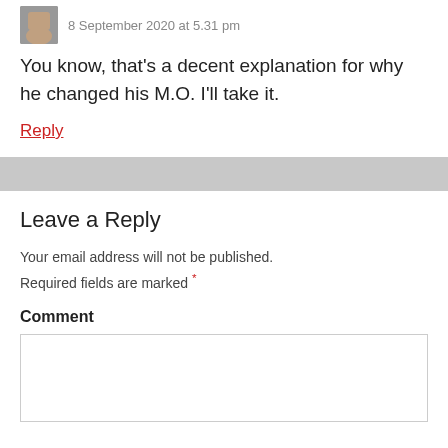8 September 2020 at 5.31 pm
You know, that's a decent explanation for why he changed his M.O. I'll take it.
Reply
Leave a Reply
Your email address will not be published. Required fields are marked *
Comment